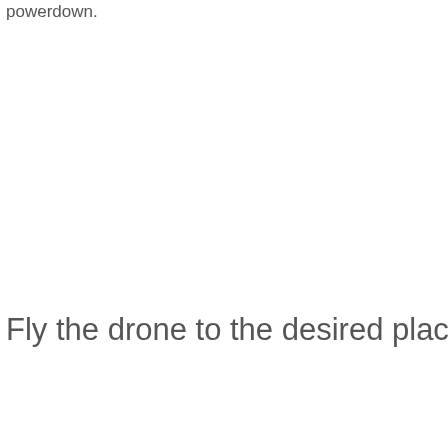powerdown.
Fly the drone to the desired place, change